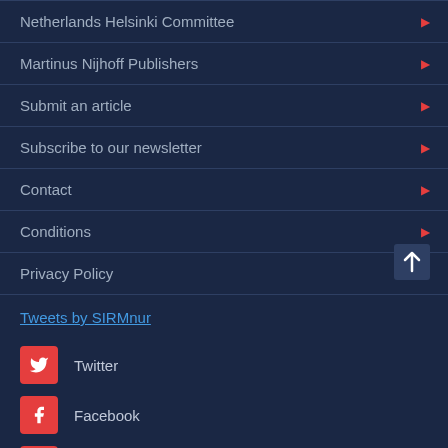Netherlands Helsinki Committee
Martinus Nijhoff Publishers
Submit an article
Subscribe to our newsletter
Contact
Conditions
Privacy Policy
Tweets by SIRMnur
Twitter
Facebook
LinkedIn